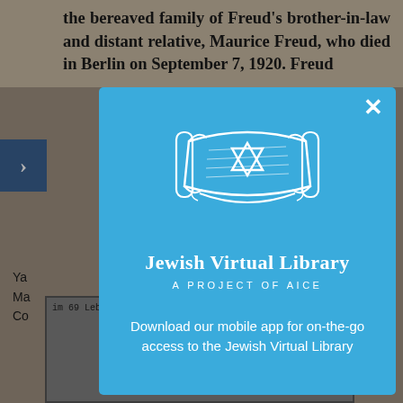the bereaved family of Freud's brother-in-law and distant relative, Maurice Freud, who died in Berlin on September 7, 1920. Freud
Ya... Ma... Co...
[Figure (screenshot): Background page showing article text about Maurice Freud with navigation arrow and bottom image]
[Figure (logo): Jewish Virtual Library logo - Torah scroll with Star of David, white on blue background]
Jewish Virtual Library
A Project of Aice
Download our mobile app for on-the-go access to the Jewish Virtual Library